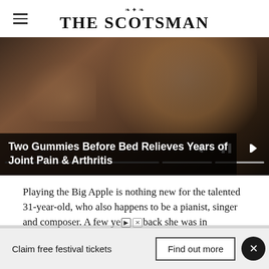THE SCOTSMAN
[Figure (photo): Close-up photo of a person eating a red gummy candy, shown from a side profile with a beard, dark background. Video player controls visible at the bottom (skip back, pause, skip forward), progress bar segments shown.]
Two Gummies Before Bed Relieves Years of Joint Pain & Arthritis
Playing the Big Apple is nothing new for the talented 31-year-old, who also happens to be a pianist, singer and composer. A few years back she was in Carnegie Hall playing with
Claim free festival tickets    Find out more